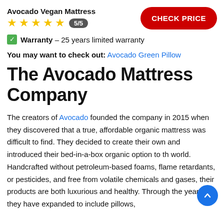Avocado Vegan Mattress
5/5
CHECK PRICE
✅ Warranty – 25 years limited warranty
You may want to check out: Avocado Green Pillow
The Avocado Mattress Company
The creators of Avocado founded the company in 2015 when they discovered that a true, affordable organic mattress was difficult to find. They decided to create their own and introduced their bed-in-a-box organic option to the world. Handcrafted without petroleum-based foams, flame retardants, or pesticides, and free from volatile chemicals and gases, their products are both luxurious and healthy. Through the years they have expanded to include pillows,